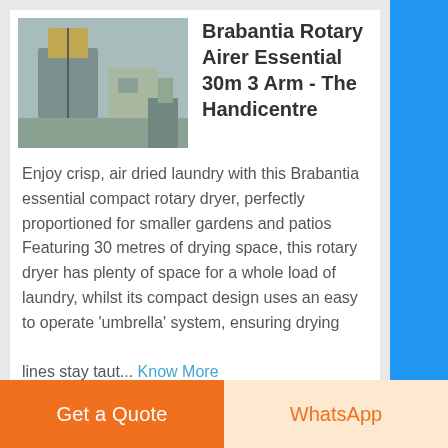Brabantia Rotary Airer Essential 30m 3 Arm - The Handicentre
Enjoy crisp, air dried laundry with this Brabantia essential compact rotary dryer, perfectly proportioned for smaller gardens and patios Featuring 30 metres of drying space, this rotary dryer has plenty of space for a whole load of laundry, whilst its compact design uses an easy to operate 'umbrella' system, ensuring drying lines stay taut... Know More
Brabantia Essential Rotary Washing Line Airer with
Get a Quote
WhatsApp